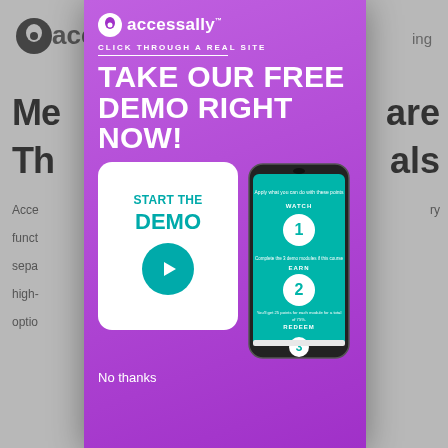[Figure (screenshot): A promotional modal popup from AccessAlly over a greyed-out website background. The modal has a purple background and contains the AccessAlly logo, the text 'CLICK THROUGH A REAL SITE', a large headline 'TAKE OUR FREE DEMO RIGHT NOW!', a white button box with 'START THE DEMO' and a teal play button, a phone device screenshot showing a gamification points interface with WATCH/EARN/REDEEM steps, and a 'No thanks' link at the bottom.]